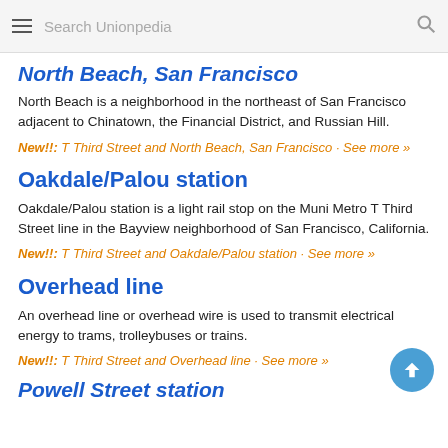Search Unionpedia
North Beach, San Francisco
North Beach is a neighborhood in the northeast of San Francisco adjacent to Chinatown, the Financial District, and Russian Hill.
New!!: T Third Street and North Beach, San Francisco · See more »
Oakdale/Palou station
Oakdale/Palou station is a light rail stop on the Muni Metro T Third Street line in the Bayview neighborhood of San Francisco, California.
New!!: T Third Street and Oakdale/Palou station · See more »
Overhead line
An overhead line or overhead wire is used to transmit electrical energy to trams, trolleybuses or trains.
New!!: T Third Street and Overhead line · See more »
Powell Street station